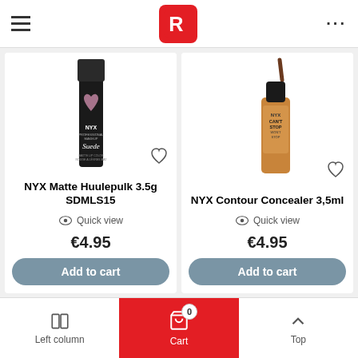Rossmann store header with logo
[Figure (photo): NYX Matte Huulepulk 3.5g SDMLS15 product image - black lipstick tube with heart design and NYX Suede branding]
NYX Matte Huulepulk 3.5g SDMLS15
Quick view
€4.95
Add to cart
[Figure (photo): NYX Contour Concealer 3,5ml product image - brown concealer tube with cap and applicator, NYX Can't Stop Won't Stop branding]
NYX Contour Concealer 3,5ml
Quick view
€4.95
Add to cart
Left column | Cart (0) | Top